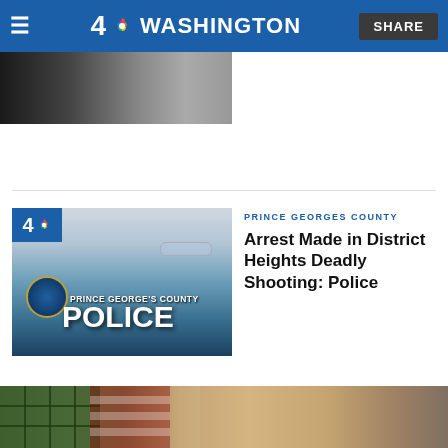4 NBC Washington — SHARE
[Figure (photo): Partial cropped image at top of page, dark/grey tones]
[Figure (photo): Prince George's County Police vehicle with NBC4 badge overlay]
PRINCE GEORGES COUNTY
Arrest Made in District Heights Deadly Shooting: Police
[Figure (photo): Woman with blonde hair seated at a table with microphone, American flag and solar panel in background]